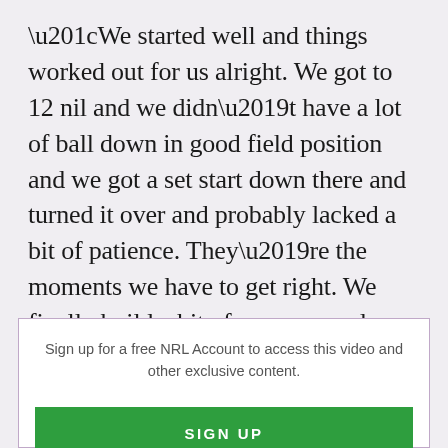“We started well and things worked out for us alright. We got to 12 nil and we didn’t have a lot of ball down in good field position and we got a set start down there and turned it over and probably lacked a bit of patience. They’re the moments we have to get right. We finally build a bit of pressure and turned it over too cheaply,” Arthur said.
Sign up for a free NRL Account to access this video and other exclusive content.
SIGN UP